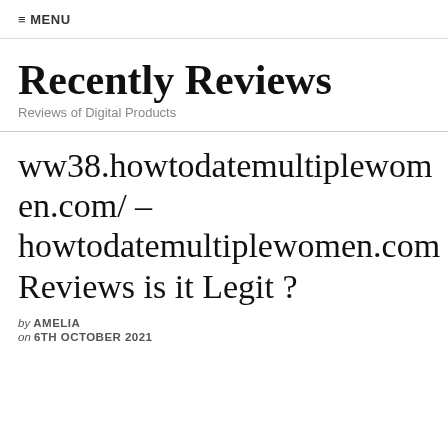≡ MENU
Recently Reviews
Reviews of Digital Products
ww38.howtodatemultiplewomen.com/ – howtodatemultiplewomen.com Reviews is it Legit ?
by AMELIA
on 6TH OCTOBER 2021